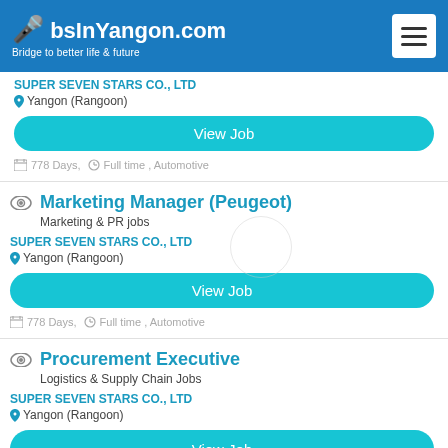JobsInYangon.com — Bridge to better life & future
SUPER SEVEN STARS CO., LTD
Yangon (Rangoon)
View Job
778 Days, Full time , Automotive
Marketing Manager (Peugeot)
Marketing & PR jobs
SUPER SEVEN STARS CO., LTD
Yangon (Rangoon)
View Job
778 Days, Full time , Automotive
Procurement Executive
Logistics & Supply Chain Jobs
SUPER SEVEN STARS CO., LTD
Yangon (Rangoon)
View Job